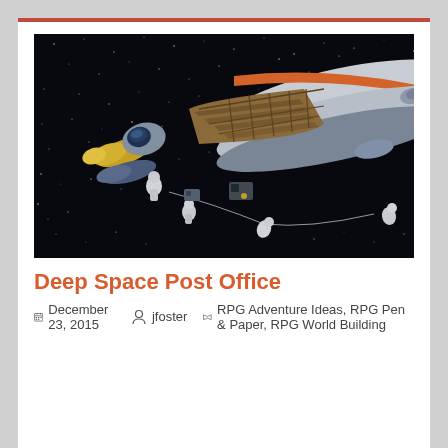[Figure (illustration): Retro sci-fi illustration of a large space shuttle or space station in orbit, shown in cutaway view revealing interior structure. Astronauts in spacesuits float nearby. The spacecraft has white and orange coloring with yellow engine pods. Stars visible in black background.]
Deep Space Post Office
December 23, 2015   jfoster   RPG Adventure Ideas, RPG Pen & Paper, RPG World Building